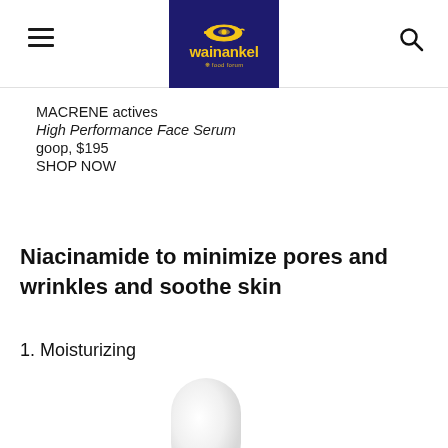wainankel — navigation header with hamburger menu and search icon
MACRENE actives
High Performance Face Serum
goop, $195
SHOP NOW
Niacinamide to minimize pores and wrinkles and soothe skin
1. Moisturizing
[Figure (photo): White cylindrical product bottle, partially visible at bottom of page]